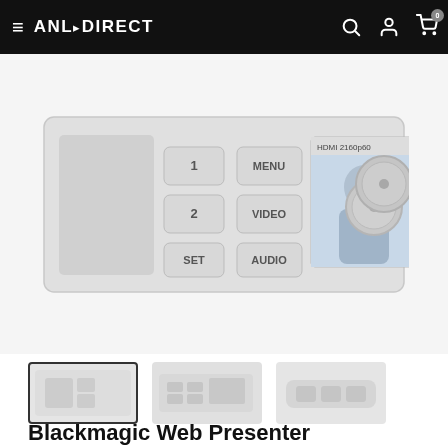ANL·DIRECT — navigation header with search, account, and cart icons
[Figure (photo): Blackmagic Web Presenter product photo showing the front panel of the device with buttons labeled 1, MENU, 2, VIDEO, SET, AUDIO, an LCD screen showing HDMI 2160p60 with a man in suit, and a large dial knob on the right.]
[Figure (photo): Thumbnail 1 (active/selected): front view of Blackmagic Web Presenter showing buttons and screen]
[Figure (photo): Thumbnail 2: front-angled view of Blackmagic Web Presenter]
[Figure (photo): Thumbnail 3: top or rear view of Blackmagic Web Presenter]
Blackmagic Web Presenter